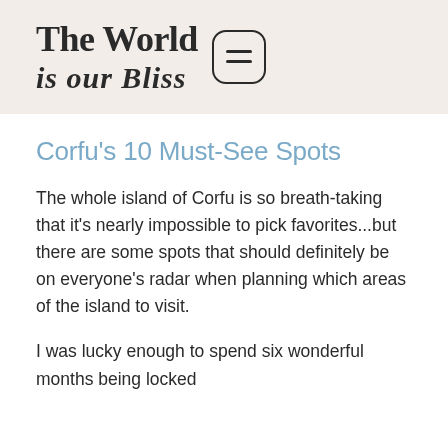The World is our Bliss
Corfu's 10 Must-See Spots
The whole island of Corfu is so breath-taking that it's nearly impossible to pick favorites...but there are some spots that should definitely be on everyone's radar when planning which areas of the island to visit.
I was lucky enough to spend six wonderful months being locked down in this paradise in 2020. Most of